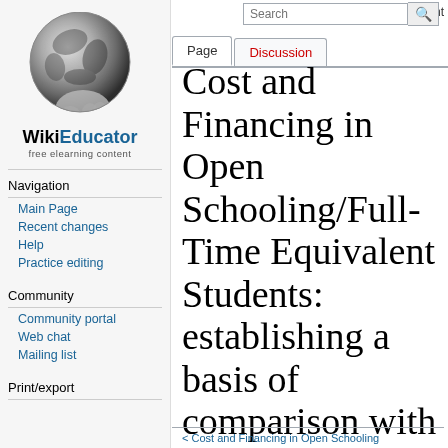Log in  Request account
[Figure (logo): WikiEducator logo: hand holding globe, text 'WikiEducator free elearning content']
Navigation
Main Page
Recent changes
Help
Practice editing
Community
Community portal
Web chat
Mailing list
Print/export
Cost and Financing in Open Schooling/Full-Time Equivalent Students: establishing a basis of comparison with conventional education